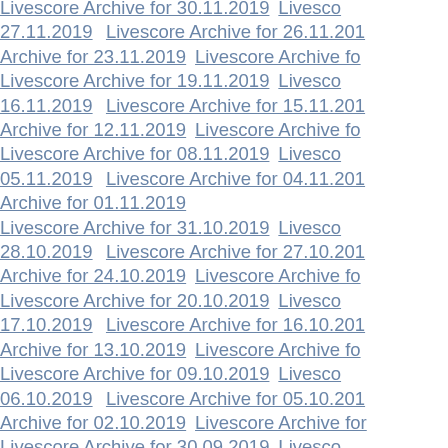Livescore Archive for 30.11.2019  Livescore Archive for 27.11.2019  Livescore Archive for 26.11.2019  Archive for 23.11.2019  Livescore Archive for 19.11.2019  Livescore Archive for 16.11.2019  Livescore Archive for 15.11.2019  Archive for 12.11.2019  Livescore Archive for 08.11.2019  Livescore Archive for 05.11.2019  Livescore Archive for 04.11.2019  Archive for 01.11.2019  Livescore Archive for 31.10.2019  Livescore Archive for 28.10.2019  Livescore Archive for 27.10.2019  Archive for 24.10.2019  Livescore Archive for 20.10.2019  Livescore Archive for 17.10.2019  Livescore Archive for 16.10.2019  Archive for 13.10.2019  Livescore Archive for 09.10.2019  Livescore Archive for 06.10.2019  Livescore Archive for 05.10.2019  Archive for 02.10.2019  Livescore Archive for 30.09.2019  Livescore Archive for 27.09.2019  Livescore Archive for 26.09.2019  Archive for 23.09.2019  Livescore Archive for 19.09.2019  Livescore Archive for 16.09.2019  Livescore Archive for 15.09.2019  Archive for 12.09.2019  Livescore Archive for 08.09.2019  Livescore Archive for ...